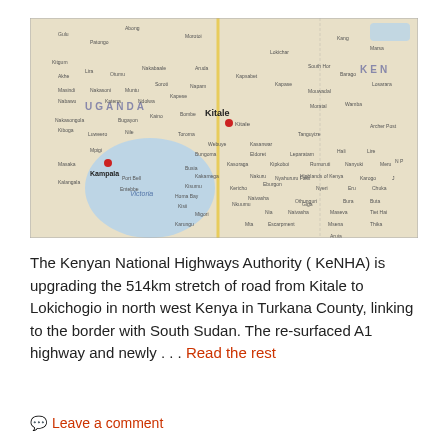[Figure (map): Map showing East Africa region including Uganda, Kenya, with Kitale marked with a red dot. Shows Lake Victoria, Kampala, and surrounding cities and towns.]
The Kenyan National Highways Authority ( KeNHA) is upgrading the 514km stretch of road from Kitale to Lokichogio in north west Kenya in Turkana County, linking to the border with South Sudan. The re-surfaced A1 highway and newly . . . Read the rest
Leave a comment